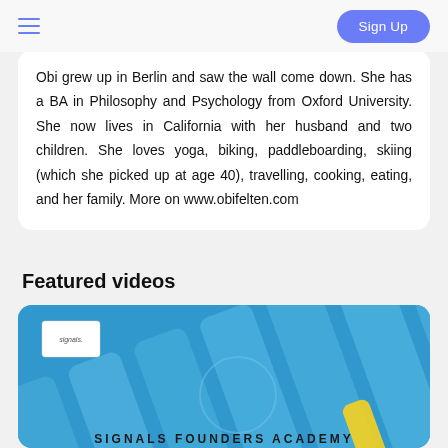Sign Up
Obi grew up in Berlin and saw the wall come down. She has a BA in Philosophy and Psychology from Oxford University. She now lives in California with her husband and two children. She loves yoga, biking, paddleboarding, skiing (which she picked up at age 40), travelling, cooking, eating, and her family. More on www.obifelten.com
Featured videos
[Figure (screenshot): A blue background video thumbnail with diagonal blue stripes, a white 'signals' logo in the top left, a yellow stripe accent at bottom right, and the text 'SIGNALS FOUNDERS ACADEMY' partially visible at the bottom.]